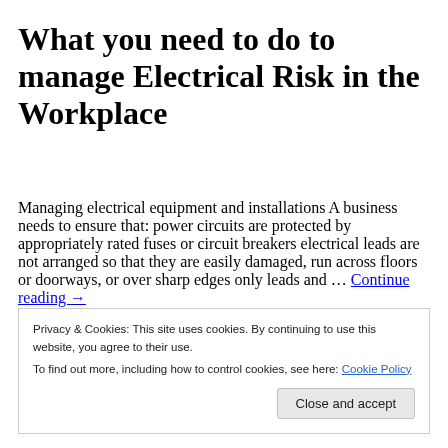What you need to do to manage Electrical Risk in the Workplace
Managing electrical equipment and installations A business needs to ensure that: power circuits are protected by appropriately rated fuses or circuit breakers electrical leads are not arranged so that they are easily damaged, run across floors or doorways, or over sharp edges only leads and … Continue reading →
Privacy & Cookies: This site uses cookies. By continuing to use this website, you agree to their use.
To find out more, including how to control cookies, see here: Cookie Policy
Close and accept